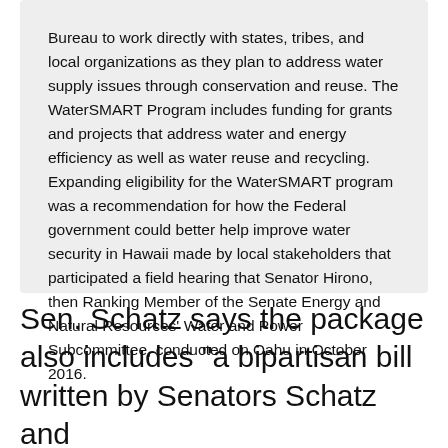Bureau to work directly with states, tribes, and local organizations as they plan to address water supply issues through conservation and reuse. The WaterSMART Program includes funding for grants and projects that address water and energy efficiency as well as water reuse and recycling. Expanding eligibility for the WaterSMART program was a recommendation for how the Federal government could better help improve water security in Hawaii made by local stakeholders that participated a field hearing that Senator Hirono, then Ranking Member of the Senate Energy and Natural Resources' Water and Power Subcommittee, conducted on Oahu in October 2016.
Sen. Schatz says the package also includes “a bipartisan bill written by Senators Schatz and John Barrasso (R-Wyo.) to help improve water and